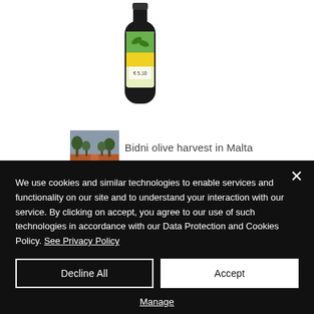[Figure (photo): Olive oil bottle with green and yellow label design, partially visible at top of page]
[Figure (photo): Small thumbnail photo of Bidni olive harvest landscape in Malta — red/brown soil path between olive trees under grey sky]
Bidni olive harvest in Malta
We use cookies and similar technologies to enable services and functionality on our site and to understand your interaction with our service. By clicking on accept, you agree to our use of such technologies in accordance with our Data Protection and Cookies Policy. See Privacy Policy
Decline All
Accept
Manage